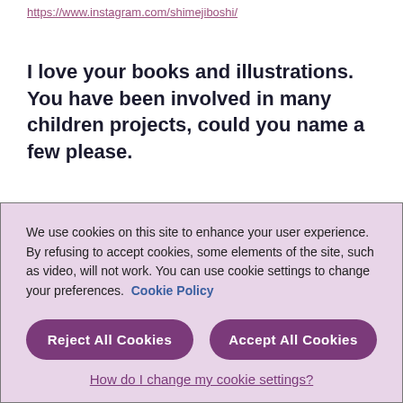https://www.instagram.com/shimejiboshi/
I love your books and illustrations.  You have been involved in many children projects, could you name a few please.
We use cookies on this site to enhance your user experience. By refusing to accept cookies, some elements of the site, such as video, will not work. You can use cookie settings to change your preferences. Cookie Policy
Reject All Cookies
Accept All Cookies
How do I change my cookie settings?